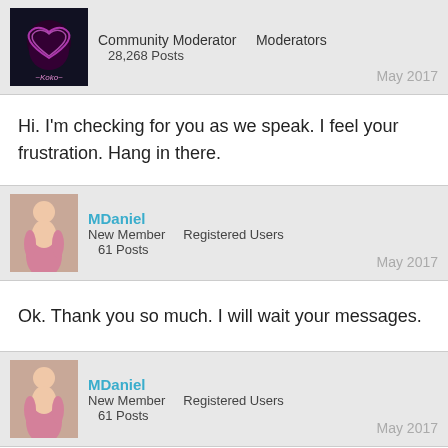Community Moderator   Moderators
28,268 Posts   May 2017
Hi. I'm checking for you as we speak. I feel your frustration. Hang in there.
MDaniel
New Member   Registered Users
61 Posts   May 2017
Ok. Thank you so much. I will wait your messages.
MDaniel
New Member   Registered Users
61 Posts   May 2017
Tell me if you need my Hollywood ID or my email address